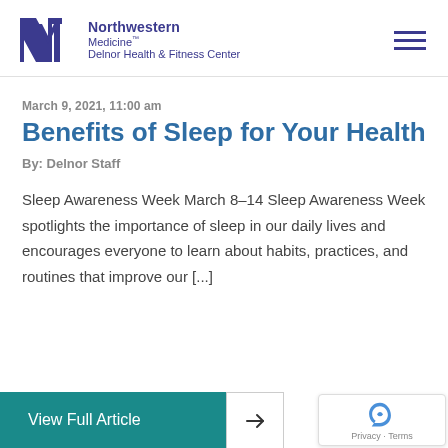[Figure (logo): Northwestern Medicine Delnor Health & Fitness Center logo with NM monogram in dark purple]
March 9, 2021, 11:00 am
Benefits of Sleep for Your Health
By: Delnor Staff
Sleep Awareness Week March 8–14 Sleep Awareness Week spotlights the importance of sleep in our daily lives and encourages everyone to learn about habits, practices, and routines that improve our [...]
View Full Article →